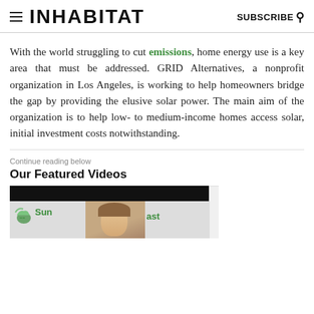INHABITAT | SUBSCRIBE
With the world struggling to cut emissions, home energy use is a key area that must be addressed. GRID Alternatives, a nonprofit organization in Los Angeles, is working to help homeowners bridge the gap by providing the elusive solar power. The main aim of the organization is to help low- to medium-income homes access solar, initial investment costs notwithstanding.
Continue reading below
Our Featured Videos
[Figure (photo): Video thumbnail showing a woman smiling with Sun Coast branding logo and a reCAPTCHA widget on the right side]